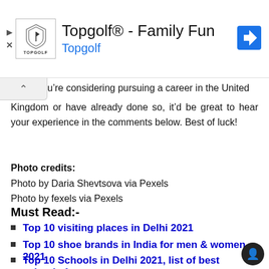[Figure (screenshot): Topgolf advertisement banner with logo, title 'Topgolf® - Family Fun', subtitle 'Topgolf', and a navigation/directions icon]
're considering pursuing a career in the United Kingdom or have already done so, it'd be great to hear your experience in the comments below. Best of luck!
Photo credits:
Photo by Daria Shevtsova via Pexels
Photo by fexels via Pexels
Must Read:-
Top 10 visiting places in Delhi 2021
Top 10 shoe brands in India for men & women 2021
Top 10 Schools in Delhi 2021, list of best schools for your child